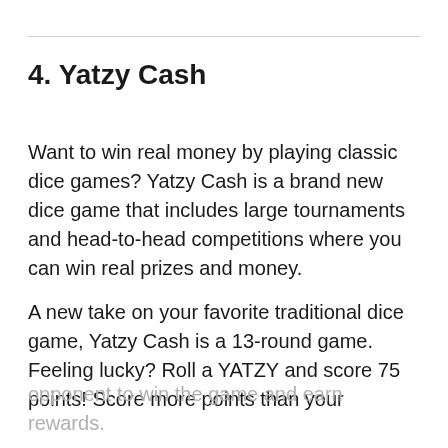4. Yatzy Cash
Want to win real money by playing classic dice games? Yatzy Cash is a brand new dice game that includes large tournaments and head-to-head competitions where you can win real prizes and money.
A new take on your favorite traditional dice game, Yatzy Cash is a 13-round game. Feeling lucky? Roll a YATZY and score 75 points! Score more points than your opponent to win the game and earn rewards.